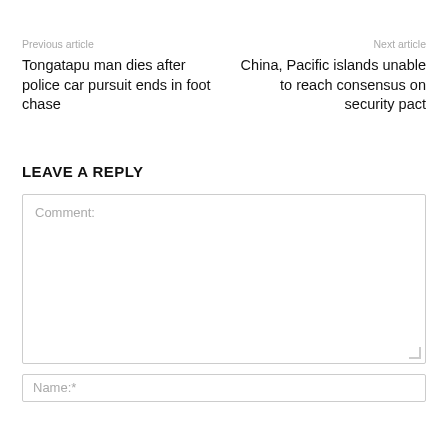Previous article
Next article
Tongatapu man dies after police car pursuit ends in foot chase
China, Pacific islands unable to reach consensus on security pact
LEAVE A REPLY
Comment:
Name:*